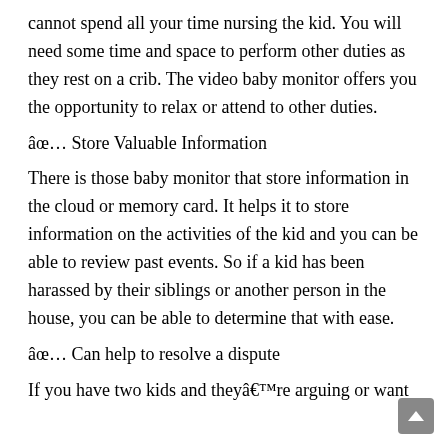cannot spend all your time nursing the kid. You will need some time and space to perform other duties as they rest on a crib. The video baby monitor offers you the opportunity to relax or attend to other duties.
âœ… Store Valuable Information
There is those baby monitor that store information in the cloud or memory card. It helps it to store information on the activities of the kid and you can be able to review past events. So if a kid has been harassed by their siblings or another person in the house, you can be able to determine that with ease.
âœ… Can help to resolve a dispute
If you have two kids and theyâ€™re arguing or want